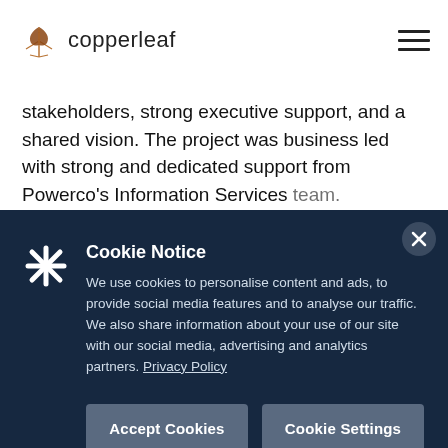copperleaf
stakeholders, strong executive support, and a shared vision. The project was business led with strong and dedicated support from Powerco’s Information Services [team].
Cookie Notice
We use cookies to personalise content and ads, to provide social media features and to analyse our traffic. We also share information about your use of our site with our social media, advertising and analytics partners. Privacy Policy
Accept Cookies
Cookie Settings